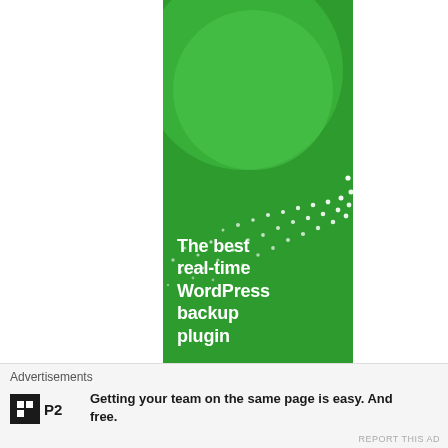[Figure (illustration): Green WordPress backup plugin advertisement banner with decorative circles, dot pattern, and bold white text reading 'The best real-time WordPress backup plugin']
Advertisements
P2 — Getting your team on the same page is easy. And free.
REPORT THIS AD